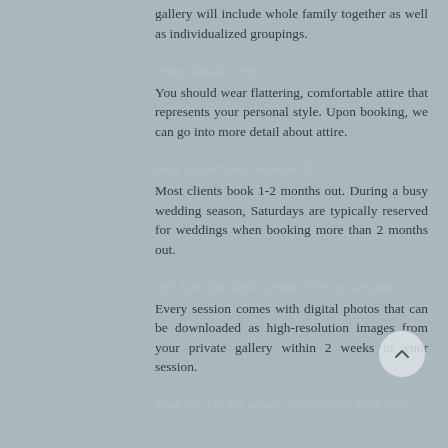gallery will include whole family together as well as individualized groupings.
What should I wear?
You should wear flattering, comfortable attire that represents your personal style. Upon booking, we can go into more detail about attire.
How far out are you booked?
Most clients book 1-2 months out. During a busy wedding season, Saturdays are typically reserved for weddings when booking more than 2 months out.
Will I get the digital photos from my session?
Every session comes with digital photos that can be downloaded as high-resolution images from your private gallery within 2 weeks of your session.
How can I order prints and products from you?